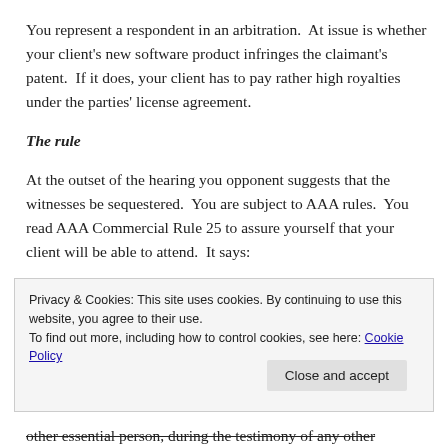You represent a respondent in an arbitration. At issue is whether your client's new software product infringes the claimant's patent. If it does, your client has to pay rather high royalties under the parties' license agreement.
The rule
At the outset of the hearing you opponent suggests that the witnesses be sequestered. You are subject to AAA rules. You read AAA Commercial Rule 25 to assure yourself that your client will be able to attend. It says:
Privacy & Cookies: This site uses cookies. By continuing to use this website, you agree to their use.
To find out more, including how to control cookies, see here: Cookie Policy
other essential person, during the testimony of any other